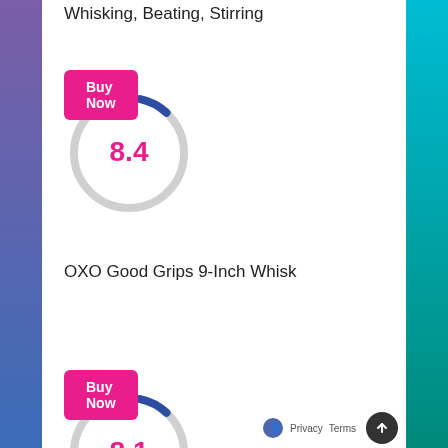Whisking, Beating, Stirring
[Figure (infographic): Buy Now button (pink) overlapping a circular score ring showing 8.4 in pink text, ring is light gray with blue accent]
OXO Good Grips 9-Inch Whisk
[Figure (infographic): Buy Now button (pink) overlapping a circular score ring showing 8.1 in pink text, ring is light gray with blue accent]
Privacy Terms